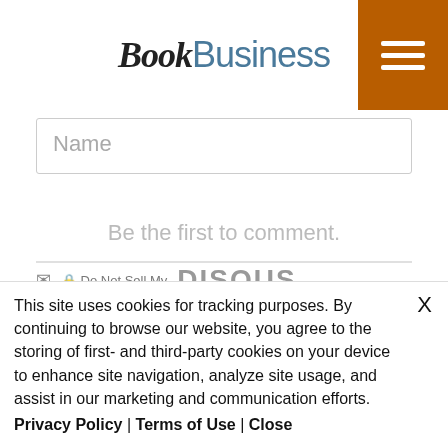[Figure (logo): BookBusiness logo with search icon on orange left panel and hamburger menu on orange right panel]
Name
Be the first to comment.
DISQUS
This site uses cookies for tracking purposes. By continuing to browse our website, you agree to the storing of first- and third-party cookies on your device to enhance site navigation, analyze site usage, and assist in our marketing and communication efforts. Privacy Policy | Terms of Use | Close